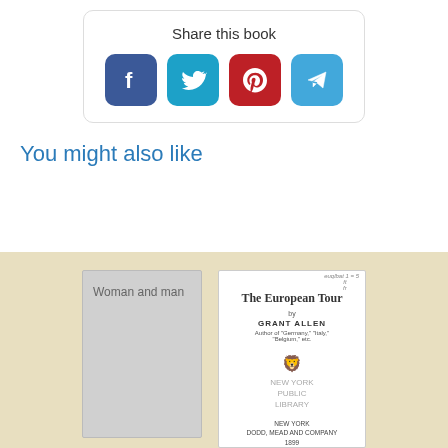Share this book
[Figure (infographic): Social sharing icons: Facebook (blue), Twitter (teal), Pinterest (red), Telegram (light blue)]
You might also like
[Figure (photo): Book cover placeholder for 'Woman and man' (gray cover)]
[Figure (photo): Book cover for 'The European Tour' by Grant Allen, New York, Dodd Mead and Company, 1899, with New York Public Library stamp]